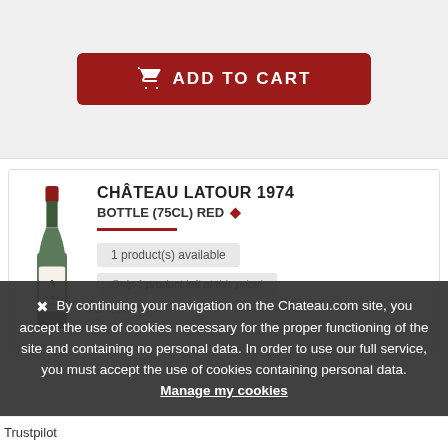[Figure (screenshot): Add to Cart button — dark red rounded rectangle with shopping basket icon and text ADD TO CART in white uppercase letters]
[Figure (photo): Product listing for Château Latour 1974 Bottle (75cl) Red wine, showing a wine bottle image, product title, availability badge '1 product(s) available', and text 'Only 1 product left at this price!']
By continuing your navigation on the Chateau.com site, you accept the use of cookies necessary for the proper functioning of the site and containing no personal data. In order to use our full service, you must accept the use of cookies containing personal data. Manage my cookies
Trustpilot